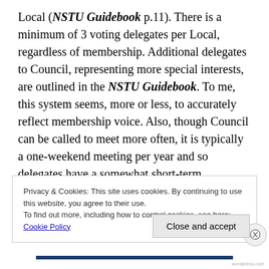Local (NSTU Guidebook p.11). There is a minimum of 3 voting delegates per Local, regardless of membership. Additional delegates to Council, representing more special interests, are outlined in the NSTU Guidebook. To me, this system seems, more or less, to accurately reflect membership voice. Also, though Council can be called to meet more often, it is typically a one-weekend meeting per year and so delegates have a somewhat short-term commitment.
Privacy & Cookies: This site uses cookies. By continuing to use this website, you agree to their use.
To find out more, including how to control cookies, see here: Cookie Policy
Close and accept